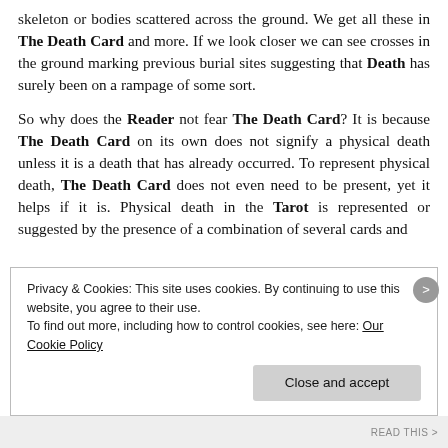skeleton or bodies scattered across the ground. We get all these in The Death Card and more. If we look closer we can see crosses in the ground marking previous burial sites suggesting that Death has surely been on a rampage of some sort.
So why does the Reader not fear The Death Card? It is because The Death Card on its own does not signify a physical death unless it is a death that has already occurred. To represent physical death, The Death Card does not even need to be present, yet it helps if it is. Physical death in the Tarot is represented or suggested by the presence of a combination of several cards and
Privacy & Cookies: This site uses cookies. By continuing to use this website, you agree to their use.
To find out more, including how to control cookies, see here: Our Cookie Policy
Close and accept